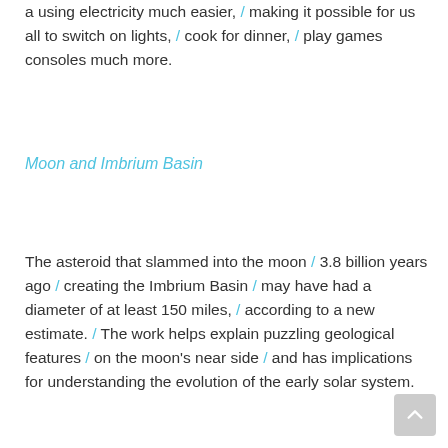a using electricity much easier, / making it possible for us all to switch on lights, / cook for dinner, / play games consoles much more.
Moon and Imbrium Basin
The asteroid that slammed into the moon / 3.8 billion years ago / creating the Imbrium Basin / may have had a diameter of at least 150 miles, / according to a new estimate. / The work helps explain puzzling geological features / on the moon's near side / and has implications for understanding the evolution of the early solar system.